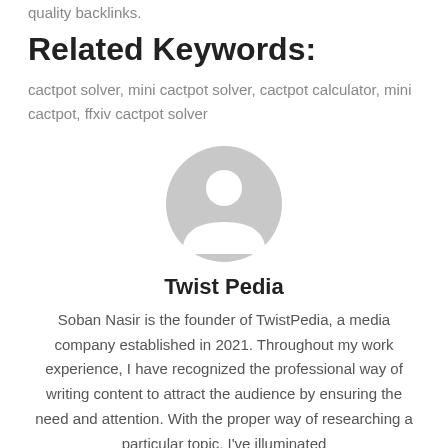quality backlinks.
Related Keywords:
cactpot solver, mini cactpot solver, cactpot calculator, mini cactpot, ffxiv cactpot solver
[Figure (illustration): Generic user avatar placeholder — gray circle with white silhouette of a person]
Twist Pedia
Soban Nasir is the founder of TwistPedia, a media company established in 2021. Throughout my work experience, I have recognized the professional way of writing content to attract the audience by ensuring the need and attention. With the proper way of researching a particular topic, I've illuminated